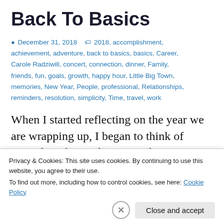Back To Basics
December 31, 2018   2018, accomplishment, achievement, adventure, back to basics, basics, Career, Carole Radziwill, concert, connection, dinner, Family, friends, fun, goals, growth, happy hour, Little Big Town, memories, New Year, People, professional, Relationships, reminders, resolution, simplicity, Time, travel, work
When I started reflecting on the year we are wrapping up, I began to think of everything big and exciting that happened. Then came the let
Privacy & Cookies: This site uses cookies. By continuing to use this website, you agree to their use.
To find out more, including how to control cookies, see here: Cookie Policy
Close and accept